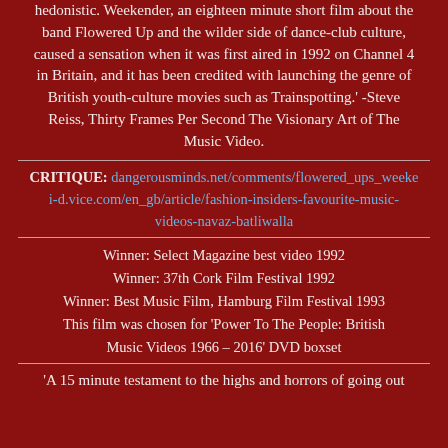hedonistic. Weekender, an eighteen minute short film about the band Flowered Up and the wilder side of dance-club culture, caused a sensation when it was first aired in 1992 on Channel 4 in Britain, and it has been credited with launching the genre of British youth-culture movies such as Trainspotting.' -Steve Reiss, Thirty Frames Per Second The Visionary Art of The Music Video.
CRITIQUE: dangerousminds.net/comments/flowered_ups_weeke i-d.vice.com/en_gb/article/fashion-insiders-favourite-music-videos-navaz-batliwalla
Winner: Select Magazine best video 1992
Winner: 37th Cork Film Festival 1992
Winner: Best Music Film, Hamburg Film Festival 1993
This film was chosen for 'Power To The People: British Music Videos 1966 – 2016' DVD boxset
'A 15 minute testament to the highs and horrors of going out